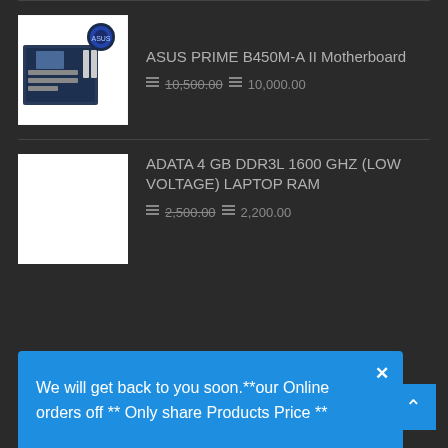[Figure (photo): ASUS PRIME B450M-A II Motherboard product image on white background]
ASUS PRIME B450M-A II Motherboard
10,500.00  10,000.00
[Figure (photo): ADATA 4 GB DDR3L 1600 GHZ (LOW VOLTAGE) LAPTOP RAM product image on white background]
ADATA 4 GB DDR3L 1600 GHZ (LOW VOLTAGE) LAPTOP RAM
2,500.00  2,200.00
We will get back to you soon.**our Online orders off ** Only share Products Price **